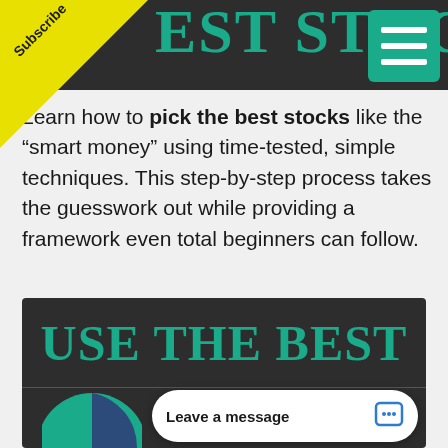EST STOCKS
Subscribe
Learn how to pick the best stocks like the “smart money” using time-tested, simple techniques. This step-by-step process takes the guesswork out while providing a framework even total beginners can follow.
USE THE BEST
Leave a message